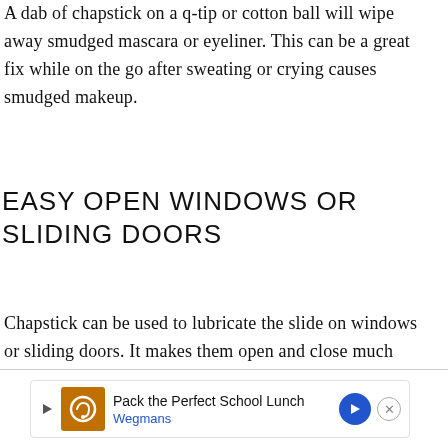A dab of chapstick on a q-tip or cotton ball will wipe away smudged mascara or eyeliner. This can be a great fix while on the go after sweating or crying causes smudged makeup.
EASY OPEN WINDOWS OR SLIDING DOORS
Chapstick can be used to lubricate the slide on windows or sliding doors. It makes them open and close much easier.
[Figure (infographic): Advertisement banner: Pack the Perfect School Lunch - Wegmans, with a navigation arrow icon and close button]